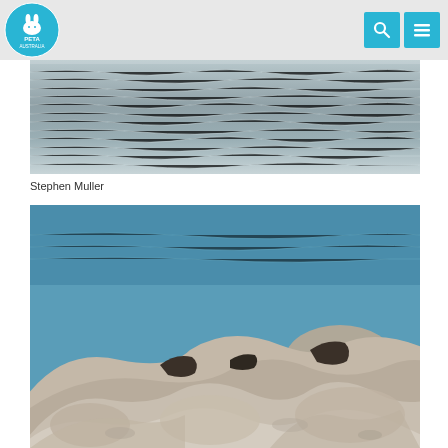PETA Australia
[Figure (photo): Aerial or close-up view of ocean water surface showing waves and ripples, photo credit Stephen Muller]
Stephen Muller
[Figure (photo): Close-up photo of large grey rocks/boulders by the water with blue water visible in the background, animals (seals or similar) partially visible among the rocks]